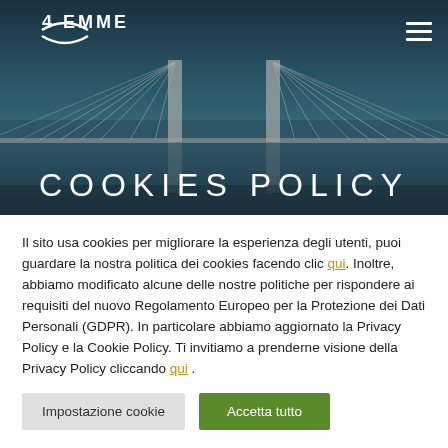[Figure (photo): Aerial photo of a cable-stayed bridge over water, dark blue-green tones, with 4 EMME logo top-left and hamburger menu top-right]
COOKIES POLICY
Il sito usa cookies per migliorare la esperienza degli utenti, puoi guardare la nostra politica dei cookies facendo clic qui. Inoltre, abbiamo modificato alcune delle nostre politiche per rispondere ai requisiti del nuovo Regolamento Europeo per la Protezione dei Dati Personali (GDPR). In particolare abbiamo aggiornato la Privacy Policy e la Cookie Policy. Ti invitiamo a prenderne visione della Privacy Policy cliccando qui .